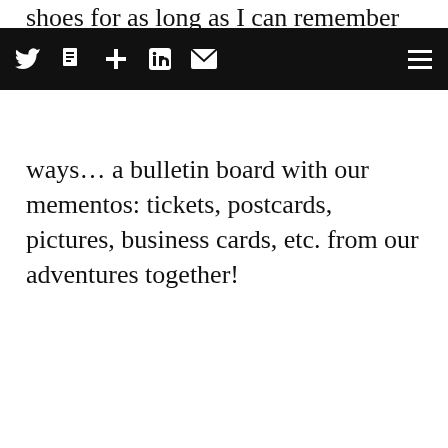shoes for as long as I can remember using it in a variety of ways… a bulletin board with our mementos: tickets, postcards, pictures, business cards, etc. from our adventures together!
Social share toolbar with Twitter, article, add, LinkedIn, email icons and hamburger menu